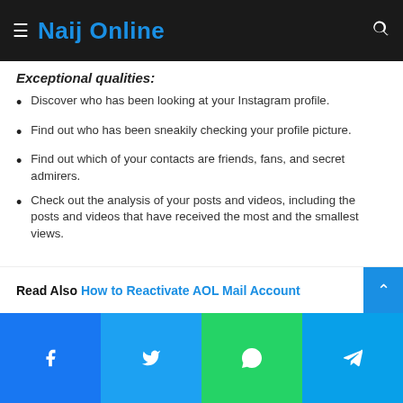Naij Online
Exceptional qualities:
Discover who has been looking at your Instagram profile.
Find out who has been sneakily checking your profile picture.
Find out which of your contacts are friends, fans, and secret admirers.
Check out the analysis of your posts and videos, including the posts and videos that have received the most and the smallest views.
Read Also How to Reactivate AOL Mail Account
Facebook Twitter WhatsApp Telegram